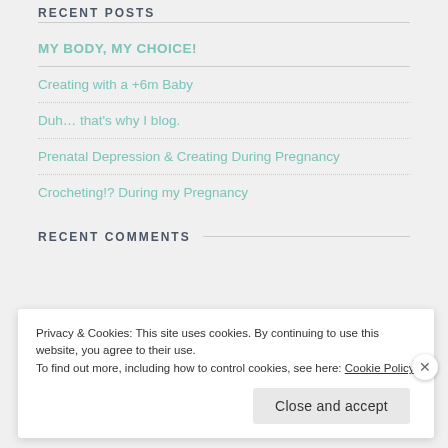RECENT POSTS
MY BODY, MY CHOICE!
Creating with a +6m Baby
Duh… that's why I blog.
Prenatal Depression & Creating During Pregnancy
Crocheting!? During my Pregnancy
RECENT COMMENTS
Privacy & Cookies: This site uses cookies. By continuing to use this website, you agree to their use.
To find out more, including how to control cookies, see here: Cookie Policy
Close and accept